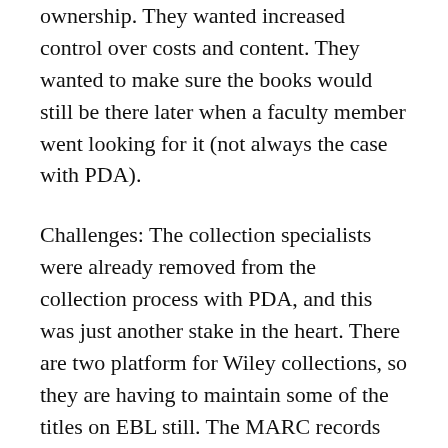ownership. They wanted increased control over costs and content. They wanted to make sure the books would still be there later when a faculty member went looking for it (not always the case with PDA).
Challenges: The collection specialists were already removed from the collection process with PDA, and this was just another stake in the heart. There are two platform for Wiley collections, so they are having to maintain some of the titles on EBL still. The MARC records are not always good, requiring some manual fixes. Scalability is going to be challenging if there isn't enough staff support. Funding uncertainty may make sustainability difficult, as well.